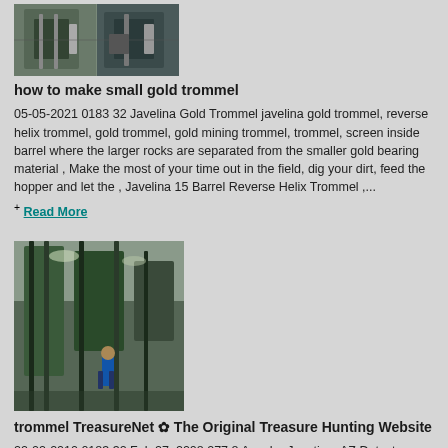[Figure (photo): Thumbnail image of industrial gold trommel machinery, two panels side by side]
how to make small gold trommel
05-05-2021 0183 32 Javelina Gold Trommel javelina gold trommel, reverse helix trommel, gold trommel, gold mining trommel, trommel, screen inside barrel where the larger rocks are separated from the smaller gold bearing material , Make the most of your time out in the field, dig your dirt, feed the hopper and let the , Javelina 15 Barrel Reverse Helix Trommel ,...
+ Read More
[Figure (photo): Photo of large industrial trommel machinery inside a warehouse/factory with a person visible in background]
trommel TreasureNet ✿ The Original Treasure Hunting Website
22-02-2010 0183 32 Feb 27, 2008 277 8 Apache Junction, AZ Detector s used MXT 300 / Javelina Gold Trommel Primary Interest